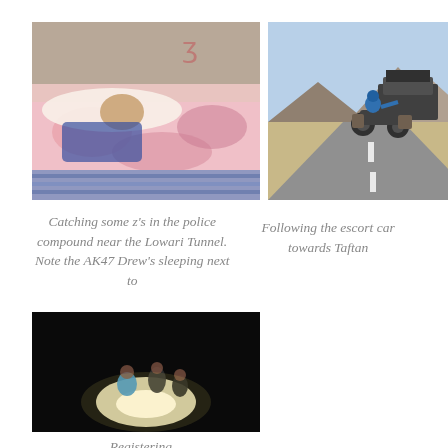[Figure (photo): Person sleeping in a police compound on a bed with colorful floral blankets and pillows, interior wall visible behind]
[Figure (photo): Motorcyclist following an escort car on a desert highway with mountains in the background towards Taftan]
Catching some z's in the police compound near the Lowari Tunnel. Note the AK47 Drew's sleeping next to
Following the escort car towards Taftan
[Figure (photo): Dark nighttime scene with figures illuminated by a bright light source, working or gathering around something on the ground]
Registering...